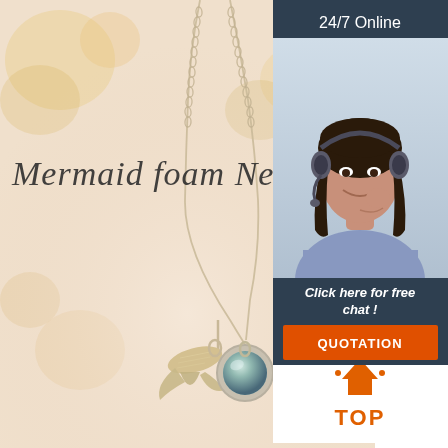[Figure (photo): Product photo of a Mermaid Foam Necklace with silver mermaid tail charm and aqua blue round gemstone pendant on a chain, against a soft peach floral background with cursive text 'Mermaid foam Neck']
[Figure (photo): Customer service widget with dark blue-gray background showing '24/7 Online' text, photo of smiling female agent with headset, 'Click here for free chat!' text, and orange QUOTATION button]
[Figure (logo): TOP button icon with orange house/arrow shape and 'TOP' text in orange below it]